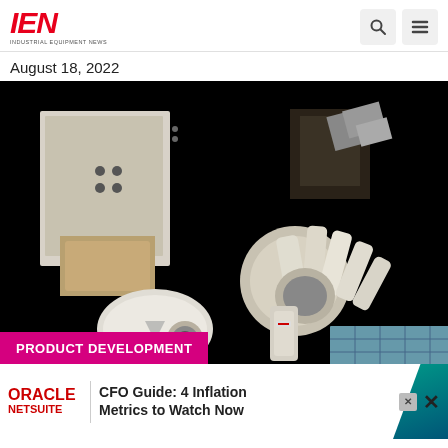IEN INDUSTRIAL EQUIPMENT NEWS
August 18, 2022
[Figure (photo): Space station exterior equipment photo showing robotic arms and solar panels against black space background]
PRODUCT DEVELOPMENT
Bad Ba
The spa
[Figure (other): Oracle NetSuite advertisement: CFO Guide: 4 Inflation Metrics to Watch Now]